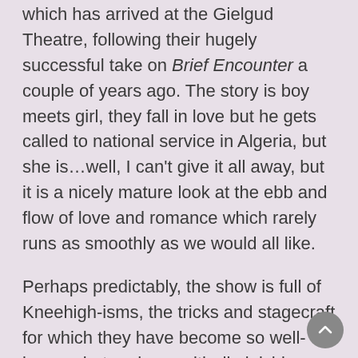which has arrived at the Gielgud Theatre, following their hugely successful take on Brief Encounter a couple of years ago. The story is boy meets girl, they fall in love but he gets called to national service in Algeria, but she is...well, I can't give it all away, but it is a nicely mature look at the ebb and flow of love and romance which rarely runs as smoothly as we would all like.
Perhaps predictably, the show is full of Kneehigh-isms, the tricks and stagecraft for which they have become so well-known, but perhaps with diminishing returns in this instance. We have finger-walking people, freaky puppet children, sailors carrying people around when they want to go somewhere, a man (badly) dragged up as the